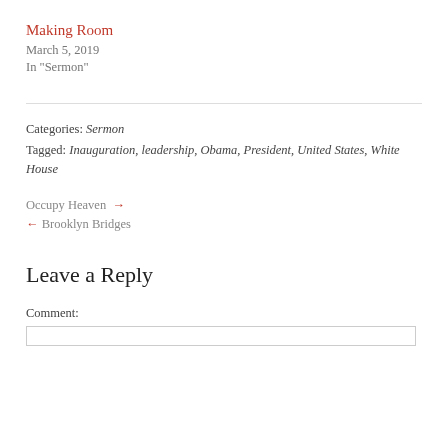Making Room
March 5, 2019
In "Sermon"
Categories: Sermon
Tagged: Inauguration, leadership, Obama, President, United States, White House
Occupy Heaven →
← Brooklyn Bridges
Leave a Reply
Comment: